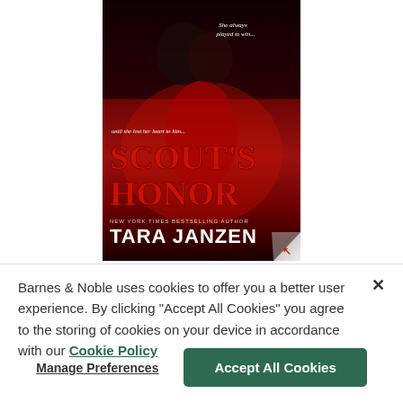[Figure (illustration): Book cover for 'Scout's Honor' by Tara Janzen. A romantic novel cover showing a couple in an intimate pose against a dark red background. The title 'SCOUT'S HONOR' appears in large red letters, and the author name 'TARA JANZEN' in large white letters. Text reads 'She always played to win...' and 'until she lost her heart to him...' New York Times bestselling author credit is shown.]
Barnes & Noble uses cookies to offer you a better user experience. By clicking "Accept All Cookies" you agree to the storing of cookies on your device in accordance with our Cookie Policy